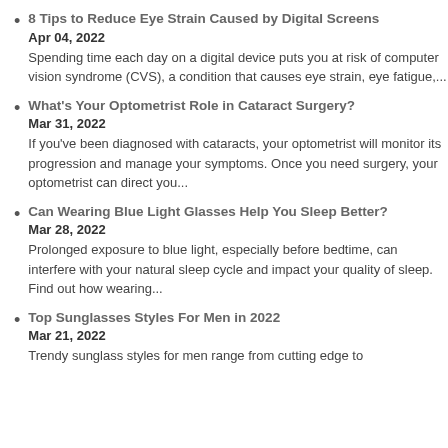8 Tips to Reduce Eye Strain Caused by Digital Screens
Apr 04, 2022
Spending time each day on a digital device puts you at risk of computer vision syndrome (CVS), a condition that causes eye strain, eye fatigue,...
What’s Your Optometrist Role in Cataract Surgery?
Mar 31, 2022
If you've been diagnosed with cataracts, your optometrist will monitor its progression and manage your symptoms. Once you need surgery, your optometrist can direct you...
Can Wearing Blue Light Glasses Help You Sleep Better?
Mar 28, 2022
Prolonged exposure to blue light, especially before bedtime, can interfere with your natural sleep cycle and impact your quality of sleep. Find out how wearing...
Top Sunglasses Styles For Men in 2022
Mar 21, 2022
Trendy sunglass styles for men range from cutting edge to...